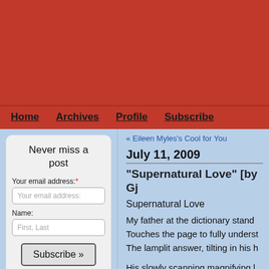[Figure (other): Red header banner area at top of blog page]
Home  Archives  Profile  Subscribe
« Eileen Myles's Cool for You
July 11, 2009
"Supernatural Love" [by Gj
Supernatural Love
My father at the dictionary stand
Touches the page to fully underst
The lamplit answer, tilting in his h
His slowly scanning magnifying l
A blurry, glistening circle he susp
Above the word 'Carnation'. Ther
Never miss a post
Your email address:
Name:
Email Terms & Privacy
Search